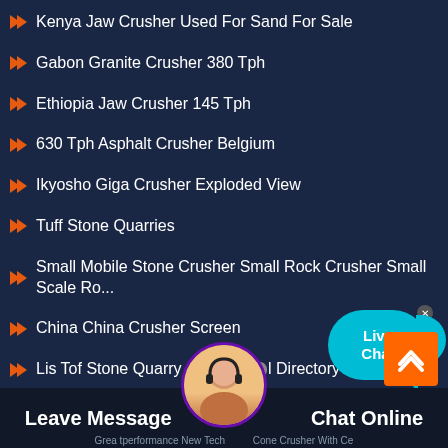Kenya Jaw Crusher Used For Sand For Sale
Gabon Granite Crusher 380 Tph
Ethiopia Jaw Crusher 145 Tph
630 Tph Asphalt Crusher Belgium
Ikyosho Giga Crusher Exploded View
Tuff Stone Quarries
Small Mobile Stone Crusher Small Rock Crusher Small Scale Ro...
China China Crusher Screen
Lis Tof Stone Quarry Companies Directory In Tanzania
[Figure (screenshot): Live Chat widget bubble in cyan blue with 'Live Chat' text and close X button]
[Figure (screenshot): Back to top orange button with upward chevron arrow]
[Figure (screenshot): Bottom navigation bar with Leave Message button, customer service avatar, and Chat Online button]
Greatperformance New Technology Cone Crusher With Ce